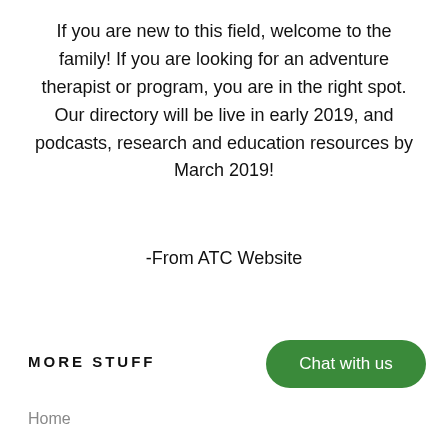If you are new to this field, welcome to the family! If you are looking for an adventure therapist or program, you are in the right spot. Our directory will be live in early 2019, and podcasts, research and education resources by March 2019!
-From ATC Website
MORE STUFF
Chat with us
Home